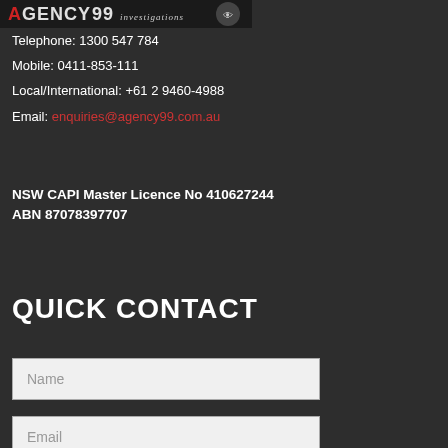[Figure (logo): Agency 99 Investigations logo - dark background with stylized text]
Telephone: 1300 547 784
Mobile: 0411-853-111
Local/International: +61 2 9460-4988
Email: enquiries@agency99.com.au
NSW CAPI Master Licence No 410627244
ABN 87078397707
QUICK CONTACT
Name
Email